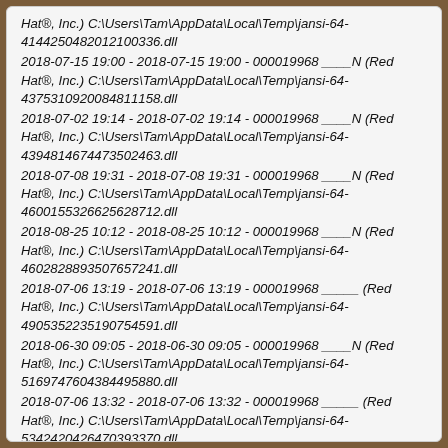Hat®, Inc.) C:\Users\Tam\AppData\Local\Temp\jansi-64-4144250482012100336.dll
2018-07-15 19:00 - 2018-07-15 19:00 - 000019968 ____N (Red Hat®, Inc.) C:\Users\Tam\AppData\Local\Temp\jansi-64-4375310920084811158.dll
2018-07-02 19:14 - 2018-07-02 19:14 - 000019968 ____N (Red Hat®, Inc.) C:\Users\Tam\AppData\Local\Temp\jansi-64-4394814674473502463.dll
2018-07-08 19:31 - 2018-07-08 19:31 - 000019968 ____N (Red Hat®, Inc.) C:\Users\Tam\AppData\Local\Temp\jansi-64-4600155326625628712.dll
2018-08-25 10:12 - 2018-08-25 10:12 - 000019968 ____N (Red Hat®, Inc.) C:\Users\Tam\AppData\Local\Temp\jansi-64-4602828893507657241.dll
2018-07-06 13:19 - 2018-07-06 13:19 - 000019968 _____ (Red Hat®, Inc.) C:\Users\Tam\AppData\Local\Temp\jansi-64-4905352235190754591.dll
2018-06-30 09:05 - 2018-06-30 09:05 - 000019968 ____N (Red Hat®, Inc.) C:\Users\Tam\AppData\Local\Temp\jansi-64-5169747604384495880.dll
2018-07-06 13:32 - 2018-07-06 13:32 - 000019968 _____ (Red Hat®, Inc.) C:\Users\Tam\AppData\Local\Temp\jansi-64-5342420426470393370.dll